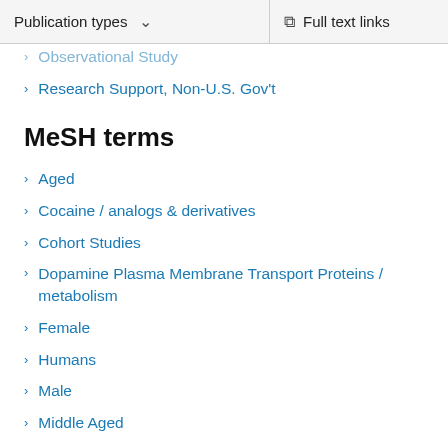Publication types   Full text links
Observational Study
Research Support, Non-U.S. Gov't
MeSH terms
Aged
Cocaine / analogs & derivatives
Cohort Studies
Dopamine Plasma Membrane Transport Proteins / metabolism
Female
Humans
Male
Middle Aged
Neurologic Examination
Olfaction Disorders / diagnosis
Olfaction Disorders / etiology
Parkinson Disease / complications